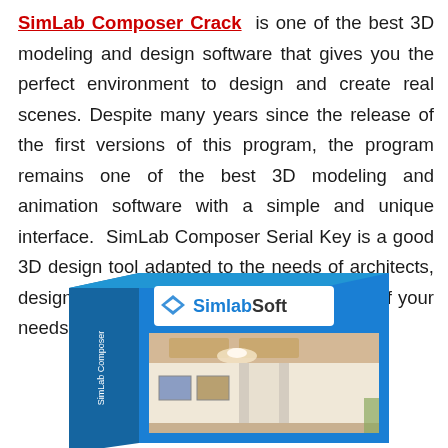SimLab Composer Crack is one of the best 3D modeling and design software that gives you the perfect environment to design and create real scenes. Despite many years since the release of the first versions of this program, the program remains one of the best 3D modeling and animation software with a simple and unique interface. SimLab Composer Serial Key is a good 3D design tool adapted to the needs of architects, designers, etc., and can cover a large part of your needs.
[Figure (photo): SimlabSoft product box showing a 3D rendered interior room scene with the SimlabSoft logo on the front of the blue box packaging.]